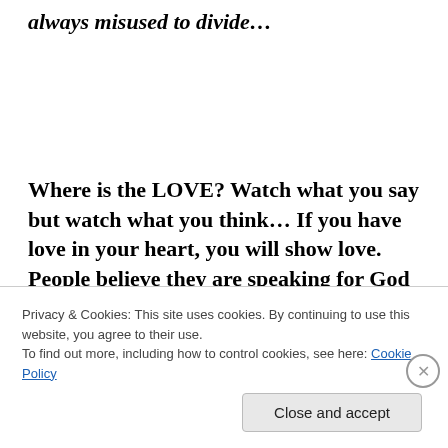always misused to divide…
Where is the LOVE? Watch what you say but watch what you think… If you have love in your heart, you will show love. People believe they are speaking for God and I'm telling you that this vile hatred, the venomous bile that comes forth is not what any God
Privacy & Cookies: This site uses cookies. By continuing to use this website, you agree to their use.
To find out more, including how to control cookies, see here: Cookie Policy
Close and accept